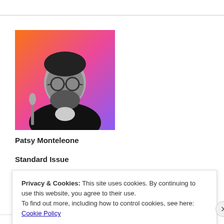[Figure (photo): Black and white photo of Patsy Monteleone, a bearded man wearing glasses and a jacket, with a colorful orange/pink gradient background]
Patsy Monteleone
Standard Issue
Here it is, my interpretation of the "Great American Songbook" (I like to call it the "Great 20th Century Songbook"), including works by Harold
Privacy & Cookies: This site uses cookies. By continuing to use this website, you agree to their use.
To find out more, including how to control cookies, see here: Cookie Policy